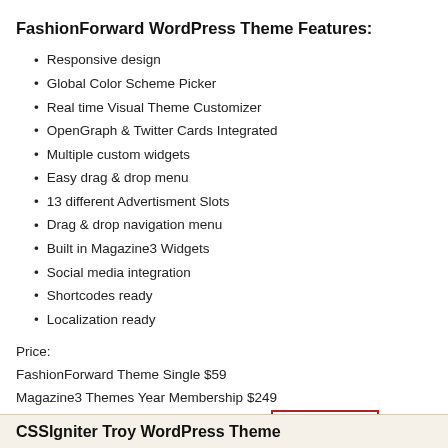FashionForward WordPress Theme Features:
Responsive design
Global Color Scheme Picker
Real time Visual Theme Customizer
OpenGraph & Twitter Cards Integrated
Multiple custom widgets
Easy drag & drop menu
13 different Advertisment Slots
Drag & drop navigation menu
Built in Magazine3 Widgets
Social media integration
Shortcodes ready
Localization ready
Price:
FashionForward Theme Single $59
Magazine3 Themes Year Membership $249
You can use Magazine3 Coupon Code : THRELEASED Get d
Demo | Download Magazine3 FashionForward WordPress Theme
CSSIgniter Troy WordPress Theme